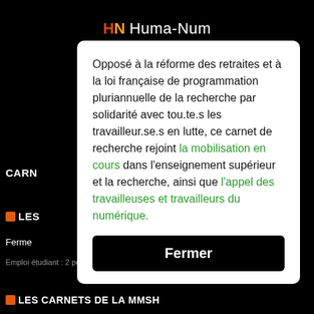HN Huma-Num
Opposé à la réforme des retraites et à la loi française de programmation pluriannuelle de la recherche par solidarité avec tou.te.s les travailleur.se.s en lutte, ce carnet de recherche rejoint la mobilisation en cours dans l'enseignement supérieur et la recherche, ainsi que l'appel des travailleuses et travailleurs du numérique.
Fermer
CARN
LES
Ferme
Emploi étudiant : 2 postes à pourvoir pour septembre 2022
LES CARNETS DE LA MMSH